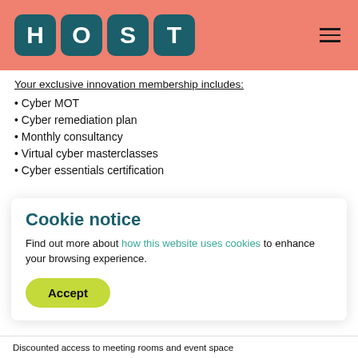[Figure (logo): HOST logo with four teal rounded square tiles each containing the letters H, O, S, T in white on a salmon/coral background header bar]
Your exclusive innovation membership includes:
Cyber MOT
Cyber remediation plan
Monthly consultancy
Virtual cyber masterclasses
Cyber essentials certification
Cookie notice
Find out more about how this website uses cookies to enhance your browsing experience.
Accept
Discounted access to meeting rooms and event space